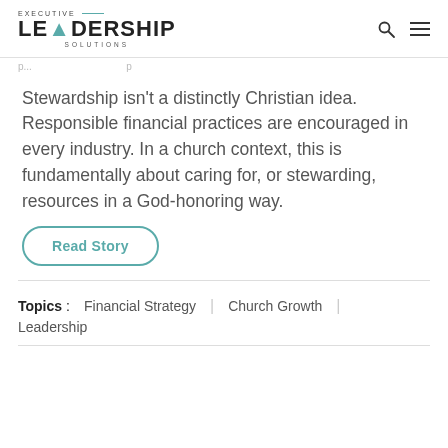EXECUTIVE LEADERSHIP SOLUTIONS
Stewardship isn't a distinctly Christian idea. Responsible financial practices are encouraged in every industry. In a church context, this is fundamentally about caring for, or stewarding, resources in a God-honoring way.
Read Story
Topics: Financial Strategy | Church Growth | Leadership